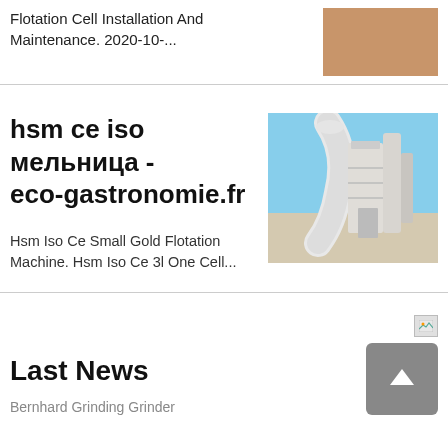Flotation Cell Installation And Maintenance. 2020-10-...
[Figure (photo): Thumbnail photo with brownish/orange tone, partially visible at top right]
hsm ce iso мельница - eco-gastronomie.fr
Hsm Iso Ce Small Gold Flotation Machine. Hsm Iso Ce 3l One Cell...
[Figure (photo): Industrial machinery photo showing large white pipes/ducts and industrial equipment against a blue sky]
[Figure (photo): Small broken image icon placeholder]
Last News
Bernhard Grinding Grinder